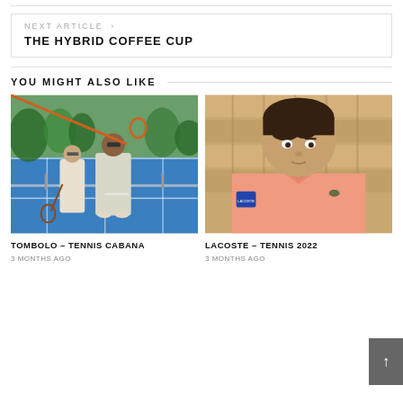NEXT ARTICLE >
THE HYBRID COFFEE CUP
YOU MIGHT ALSO LIKE
[Figure (photo): Two people on a tennis court wearing light-colored casual tennis outfits, one holding a racket. Blue court surface and green trees in background.]
TOMBOLO – TENNIS CABANA
3 MONTHS AGO
[Figure (photo): Young man wearing a salmon/peach colored Lacoste polo shirt with badge on sleeve, seated in front of wooden stadium seats.]
LACOSTE – TENNIS 2022
3 MONTHS AGO